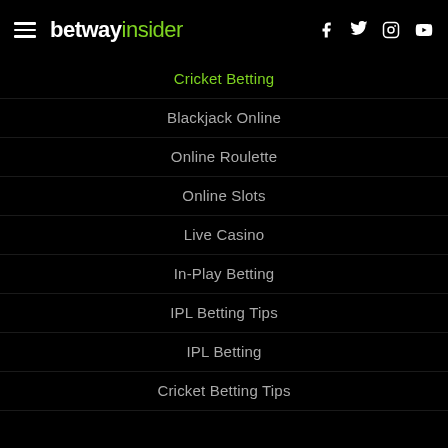betway insider
Cricket Betting
Blackjack Online
Online Roulette
Online Slots
Live Casino
In-Play Betting
IPL Betting Tips
IPL Betting
Cricket Betting Tips